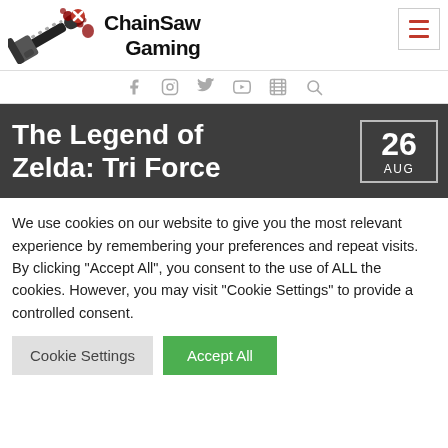ChainSaw Gaming
[Figure (logo): ChainSaw Gaming logo with chainsaw illustration and blood splatter]
[Figure (infographic): Social media icons: Facebook, Instagram, Twitter, YouTube, film reel, search]
The Legend of Zelda: Tri Force
26 AUG
We use cookies on our website to give you the most relevant experience by remembering your preferences and repeat visits. By clicking "Accept All", you consent to the use of ALL the cookies. However, you may visit "Cookie Settings" to provide a controlled consent.
Cookie Settings | Accept All